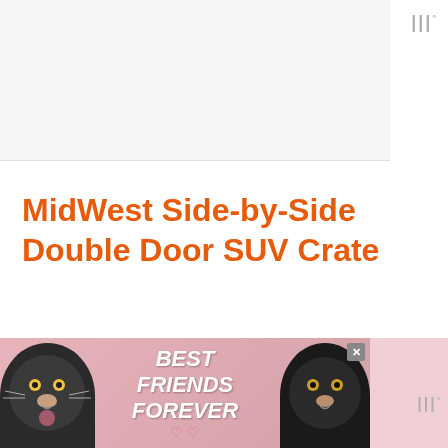[Figure (photo): Gray/white placeholder image area at top of page, partially visible]
MidWest Side-by-Side Double Door SUV Crate
[Figure (photo): Advertisement banner showing two cats with text 'BEST FRIENDS FOREVER' on a pink/red background with heart decorations and a close button]